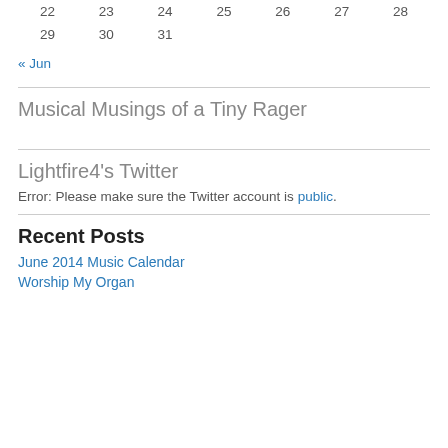| 22 | 23 | 24 | 25 | 26 | 27 | 28 |
| 29 | 30 | 31 |  |  |  |  |
« Jun
Musical Musings of a Tiny Rager
Lightfire4's Twitter
Error: Please make sure the Twitter account is public.
Recent Posts
June 2014 Music Calendar
Worship My Organ